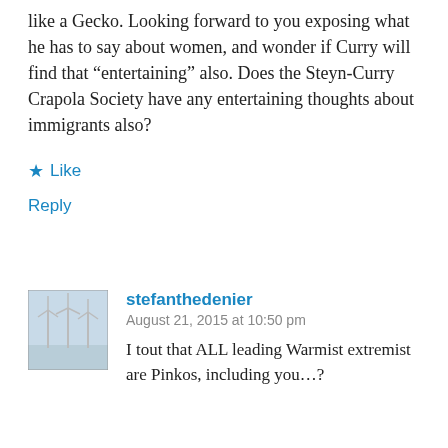like a Gecko. Looking forward to you exposing what he has to say about women, and wonder if Curry will find that “entertaining” also. Does the Steyn-Curry Crapola Society have any entertaining thoughts about immigrants also?
★ Like
Reply
stefanthedenier
August 21, 2015 at 10:50 pm
I tout that ALL leading Warmist extremist are Pinkos, including you…?